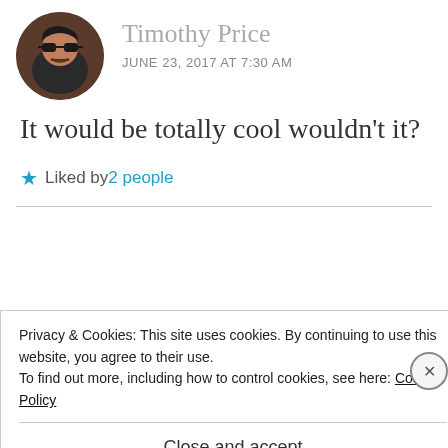Timothy Price
JUNE 23, 2017 AT 7:30 AM
It would be totally cool wouldn't it?
★ Liked by 2 people
[Figure (illustration): Advertisement banner: How to start selling subscriptions online, with a cyan geometric shape on the right]
Privacy & Cookies: This site uses cookies. By continuing to use this website, you agree to their use.
To find out more, including how to control cookies, see here: Cookie Policy
Close and accept